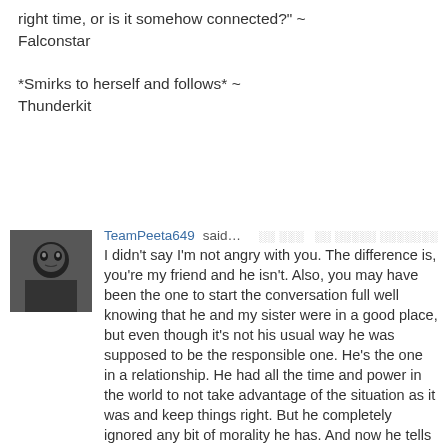right time, or is it somehow connected?" ~ Falconstar

*Smirks to herself and follows* ~ Thunderkit
[Figure (photo): Black and white avatar image of a person or figure]
TeamPeeta649 said…
I didn't say I'm not angry with you. The difference is, you're my friend and he isn't. Also, you may have been the one to start the conversation full well knowing that he and my sister were in a good place, but even though it's not his usual way he was supposed to be the responsible one. He's the one in a relationship. He had all the time and power in the world to not take advantage of the situation as it was and keep things right. But he completely ignored any bit of morality he has. And now he tells my sister it was all a mistake. A moment of not thinking. *breathes deeply, controlling his rage* Cats like him infuriate me. Cats who can so recklessly throw around words of meaning and